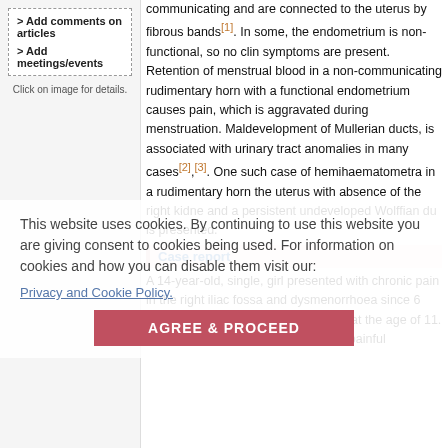> Add comments on articles
> Add meetings/events
Click on image for details.
communicating and are connected to the uterus by fibrous bands[1]. In some, the endometrium is non-functional, so no clinical symptoms are present. Retention of menstrual blood in a non-communicating rudimentary horn with a functional endometrium causes pain, which is aggravated during menstruation. Maldevelopment of Mullerian ducts, is associated with urinary tract anomalies in many cases[2],[3]. One such case of hemihaematometra in a rudimentary horn the uterus with absence of the right kidney and a persistent undeveloped Wolffian duct is presented.
This website uses cookies. By continuing to use this website you are giving consent to cookies being used. For information on cookies and how you can disable them visit our:
Privacy and Cookie Policy.
AGREE & PROCEED
Case report
A 14-year-old, single, girl presented with chronic pain in the right iliac fossa and dysmenorrhoea since 6 months. She had attained menarche at the age of 11. Her menstrual cycles were irregular, painful